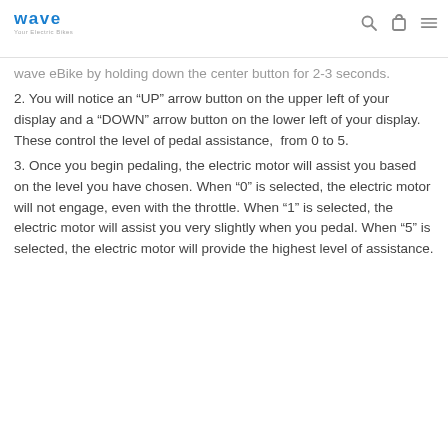Wave Electric Bikes logo with search, cart, and menu icons
wave eBike by holding down the center button for 2-3 seconds.
2. You will notice an “UP” arrow button on the upper left of your display and a “DOWN” arrow button on the lower left of your display. These control the level of pedal assistance, from 0 to 5.
3. Once you begin pedaling, the electric motor will assist you based on the level you have chosen. When “0” is selected, the electric motor will not engage, even with the throttle. When “1” is selected, the electric motor will assist you very slightly when you pedal. When “5” is selected, the electric motor will provide the highest level of assistance.